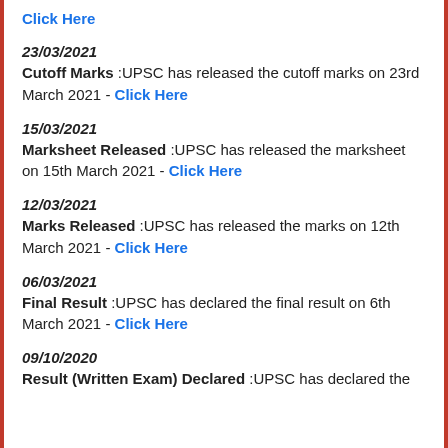Click Here
23/03/2021
Cutoff Marks :UPSC has released the cutoff marks on 23rd March 2021 - Click Here
15/03/2021
Marksheet Released :UPSC has released the marksheet on 15th March 2021 - Click Here
12/03/2021
Marks Released :UPSC has released the marks on 12th March 2021 - Click Here
06/03/2021
Final Result :UPSC has declared the final result on 6th March 2021 - Click Here
09/10/2020
Result (Written Exam) Declared :UPSC has declared the